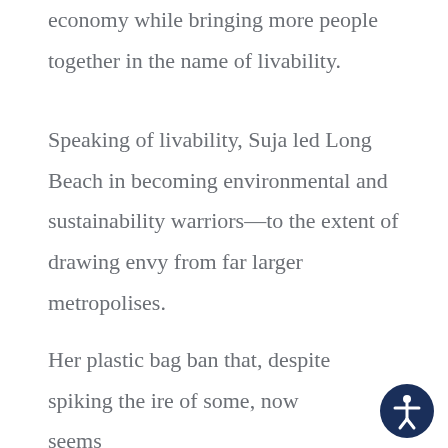economy while bringing more people together in the name of livability.
Speaking of livability, Suja led Long Beach in becoming environmental and sustainability warriors—to the extent of drawing envy from far larger metropolises.
Her plastic bag ban that, despite spiking the ire of some, now seems